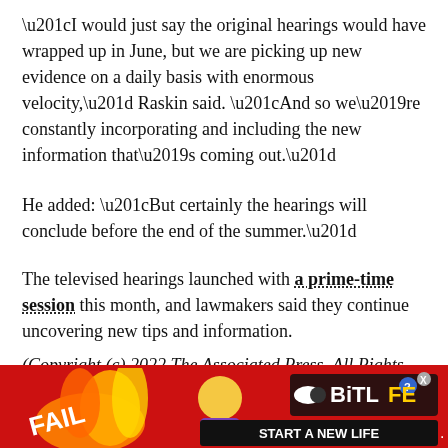“I would just say the original hearings would have wrapped up in June, but we are picking up new evidence on a daily basis with enormous velocity,” Raskin said. “And so we’re constantly incorporating and including the new information that’s coming out.”
He added: “But certainly the hearings will conclude before the end of the summer.”
The televised hearings launched with a prime-time session this month, and lawmakers said they continue uncovering new tips and information.
(Copyright (c) 2022 The Associated Press. All Rights Reserved. This material may not be published, broadcast, rewritten, or redistributed.)
[Figure (infographic): Advertisement banner with red border showing BitLife game ad with cartoon character, fire, FAIL text, and 'START A NEW LIFE' tagline]